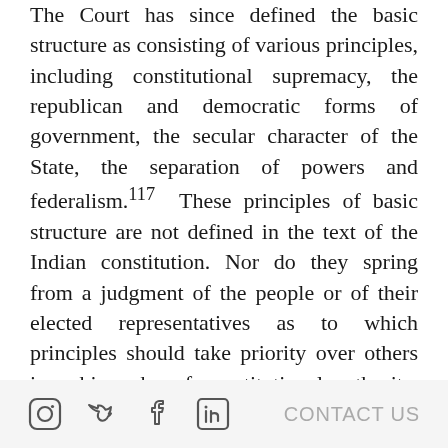The Court has since defined the basic structure as consisting of various principles, including constitutional supremacy, the republican and democratic forms of government, the secular character of the State, the separation of powers and federalism.117 These principles of basic structure are not defined in the text of the Indian constitution. Nor do they spring from a judgment of the people or of their elected representatives as to which principles should take priority over others in a hierarchy of constitutional authority. These and other principles of the basic structure doctrine come from the Indian
Social icons: Instagram, Twitter, Facebook, LinkedIn | CONTACT US